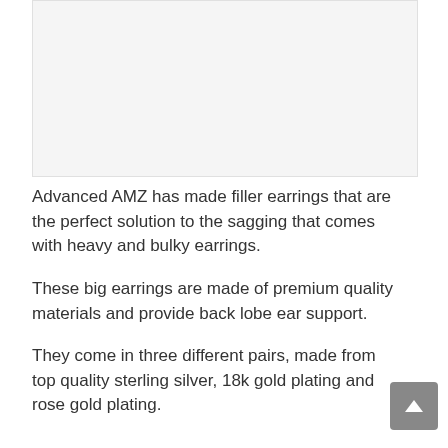[Figure (photo): Product image placeholder area, light gray background]
Advanced AMZ has made filler earrings that are the perfect solution to the sagging that comes with heavy and bulky earrings.
These big earrings are made of premium quality materials and provide back lobe ear support.
They come in three different pairs, made from top quality sterling silver, 18k gold plating and rose gold plating.